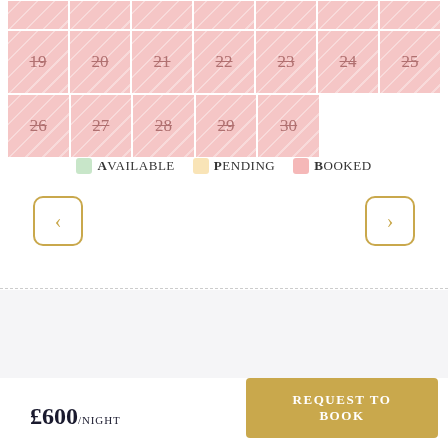[Figure (other): Booking calendar showing dates 19-30, all marked as booked (pink background with diagonal stripe pattern). Two rows visible: row with 19,20,21,22,23,24,25 and row with 26,27,28,29,30.]
Available   Pending   Booked
[Figure (other): Previous month navigation button (left arrow) with gold border]
[Figure (other): Next month navigation button (right arrow) with gold border]
0 Review
£600/NIGHT
REQUEST TO BOOK